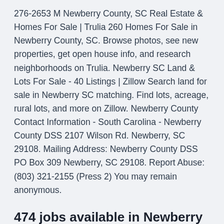276-2653 M Newberry County, SC Real Estate & Homes For Sale | Trulia 260 Homes For Sale in Newberry County, SC. Browse photos, see new properties, get open house info, and research neighborhoods on Trulia. Newberry SC Land & Lots For Sale - 40 Listings | Zillow Search land for sale in Newberry SC matching. Find lots, acreage, rural lots, and more on Zillow. Newberry County Contact Information - South Carolina - Newberry County DSS 2107 Wilson Rd. Newberry, SC 29108. Mailing Address: Newberry County DSS PO Box 309 Newberry, SC 29108. Report Abuse: (803) 321-2155 (Press 2) You may remain anonymous.
474 jobs available in Newberry